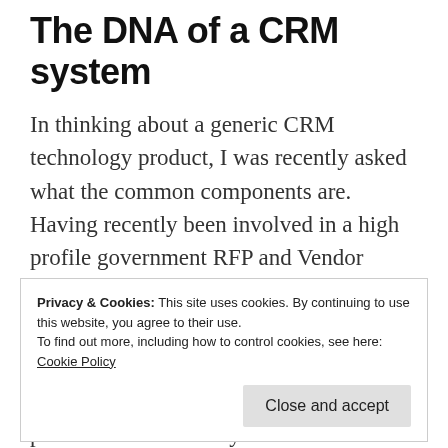The DNA of a CRM system
In thinking about a generic CRM technology product, I was recently asked what the common components are. Having recently been involved in a high profile government RFP and Vendor Evaluation, I have come up with the following list of common components. I believe these
Privacy & Cookies: This site uses cookies. By continuing to use this website, you agree to their use.
To find out more, including how to control cookies, see here:
Cookie Policy
Close and accept
product. I was recently asked what the